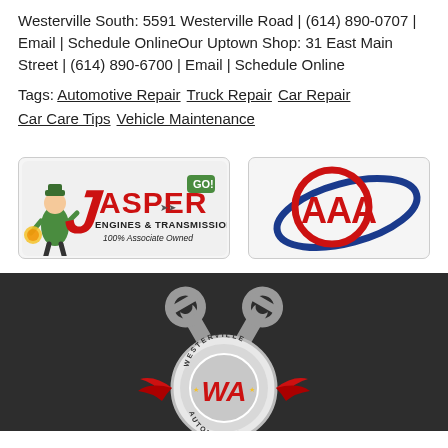Westerville South: 5591 Westerville Road | (614) 890-0707 | Email | Schedule OnlineOur Uptown Shop: 31 East Main Street | (614) 890-6700 | Email | Schedule Online
Tags: Automotive Repair  Truck Repair  Car Repair  Car Care Tips  Vehicle Maintenance
[Figure (logo): Jasper Engines & Transmissions logo - 100% Associate Owned, with mascot figure and red/green text]
[Figure (logo): AAA logo - red triple-A letters in a circle with blue oval ring]
[Figure (logo): Westerville Automotive logo on dark background - two wrenches crossed above a circular badge with WA initials and red wings]